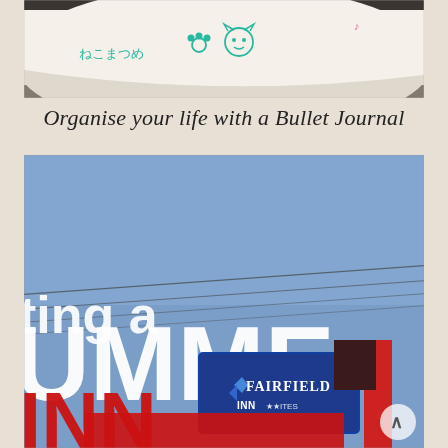[Figure (photo): Photo of a notebook or paper roll with Japanese text and doodles (cat paw print, cat face drawing) in teal/green marker on a white surface against a dark background.]
Organise your life with a Bullet Journal
[Figure (photo): Photo of a blue sky with power lines overhead and a Fairfield Inn & Suites sign. Large white text overlay reads 'SUMMER' (partially visible: 'ting a UMME') and 'INN' is partially visible below. A small upward-pointing caret/arrow icon appears in the bottom right.]